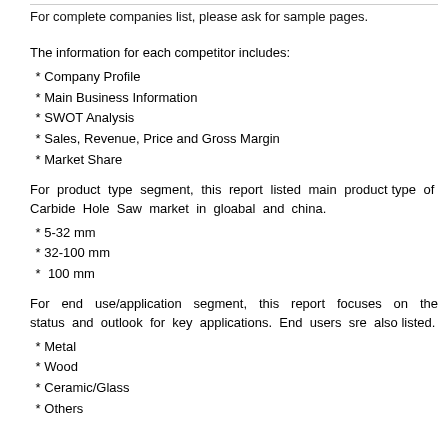For complete companies list, please ask for sample pages.
The information for each competitor includes:
* Company Profile
* Main Business Information
* SWOT Analysis
* Sales, Revenue, Price and Gross Margin
* Market Share
For product type segment, this report listed main product type of Carbide Hole Saw market in gloabal and china.
* 5-32 mm
* 32-100 mm
*  100 mm
For end use/application segment, this report focuses on the status and outlook for key applications. End users sre also listed.
* Metal
* Wood
* Ceramic/Glass
* Others